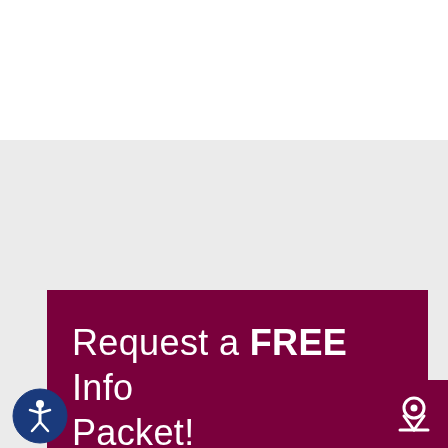Request a FREE Info Packet!
[Figure (logo): Blue circle accessibility icon with white person/wheelchair symbol]
[Figure (logo): Dark maroon square with white map pin / location marker icon]